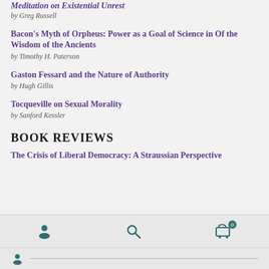Meditation on Existential Unrest
by Greg Russell
Bacon's Myth of Orpheus: Power as a Goal of Science in Of the Wisdom of the Ancients
by Timothy H. Paterson
Gaston Fessard and the Nature of Authority
by Hugh Gillis
Tocqueville on Sexual Morality
by Sanford Kessler
BOOK REVIEWS
The Crisis of Liberal Democracy: A Straussian Perspective